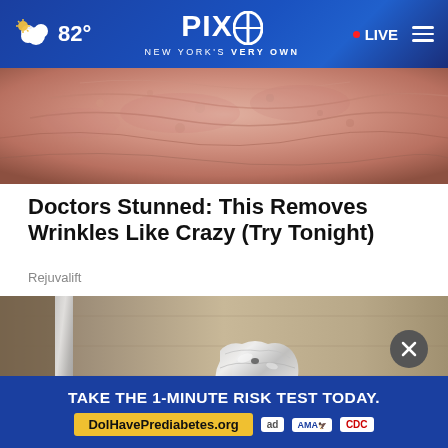PIX 11 — NEW YORK'S VERY OWN | 82° | LIVE
[Figure (photo): Close-up photo of wrinkled skin, pink and textured, cropped at top]
Doctors Stunned: This Removes Wrinkles Like Crazy (Try Tonight)
Rejuvalift
[Figure (photo): Photo of a door knob wrapped in aluminum foil on a wooden door]
[Figure (screenshot): Bottom advertisement banner: TAKE THE 1-MINUTE RISK TEST TODAY. DolHavePrediabetes.org — ad, AMA, CDC logos]